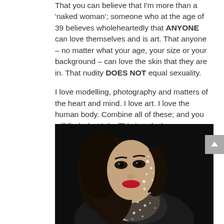That you can believe that I'm more than a 'naked woman'; someone who at the age of 39 believes wholeheartedly that ANYONE can love themselves and is art. That anyone – no matter what your age, your size or your background – can love the skin that they are in. That nudity DOES NOT equal sexuality.
I love modelling, photography and matters of the heart and mind. I love art. I love the human body. Combine all of these; and you will find what I do. This is only the beginning...
[Figure (photo): A woman with dark hair and red lipstick, adorned with rhinestones/crystals on her face and body, photographed against a dark background.]